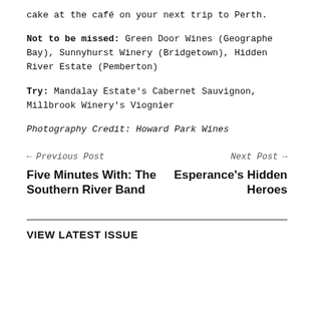cake at the café on your next trip to Perth.
Not to be missed: Green Door Wines (Geographe Bay), Sunnyhurst Winery (Bridgetown), Hidden River Estate (Pemberton)
Try: Mandalay Estate's Cabernet Sauvignon, Millbrook Winery's Viognier
Photography Credit: Howard Park Wines
← Previous Post    Next Post →
Five Minutes With: The Southern River Band
Esperance's Hidden Heroes
VIEW LATEST ISSUE